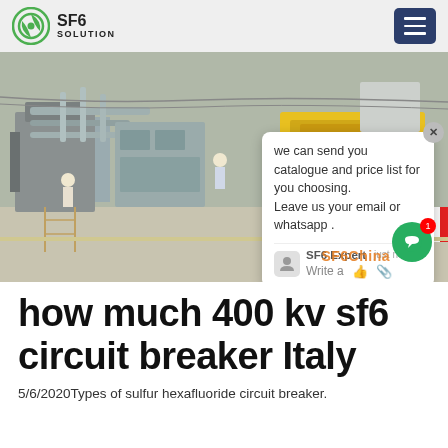SF6 SOLUTION
[Figure (photo): Outdoor high-voltage SF6 circuit breaker substation with workers and yellow heavy equipment vehicle marked AW 0725. A chat popup overlay is visible in the top-right area of the image with the message: 'we can send you catalogue and price list for you choosing. Leave us your email or whatsapp .' from SF6 Expert. Watermark text 'SF6China' at bottom right.]
how much 400 kv sf6 circuit breaker Italy
5/6/2020Types of sulfur hexafluoride circuit breaker.